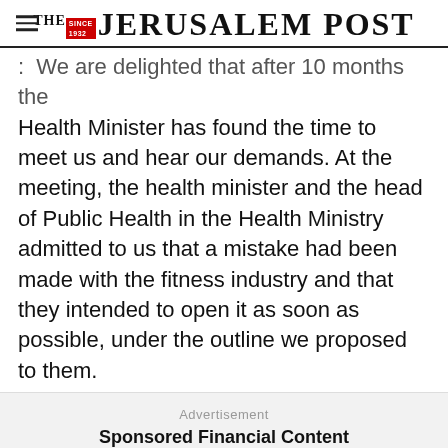THE JERUSALEM POST
.  We are delighted that after 10 months the Health Minister has found the time to meet us and hear our demands. At the meeting, the health minister and the head of Public Health in the Health Ministry admitted to us that a mistake had been made with the fitness industry and that they intended to open it as soon as possible, under the outline we proposed to them.
Advertisement
Sponsored Financial Content
Advertisement